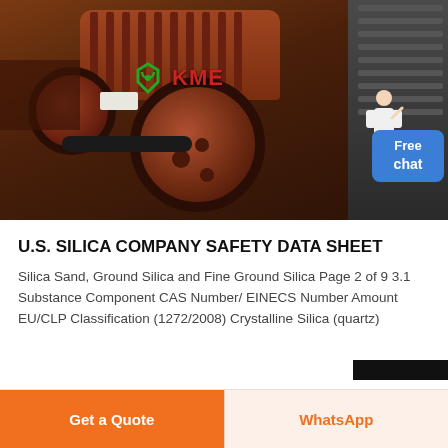[Figure (photo): Industrial cone crusher machine with orange/brown body, large belt pulley and drive belt, set in a factory/industrial environment. KME logo overlay visible in green and red text.]
U.S. SILICA COMPANY SAFETY DATA SHEET
Silica Sand, Ground Silica and Fine Ground Silica Page 2 of 9 3.1 Substance Component CAS Number/ EINECS Number Amount EU/CLP Classification (1272/2008) Crystalline Silica (quartz)